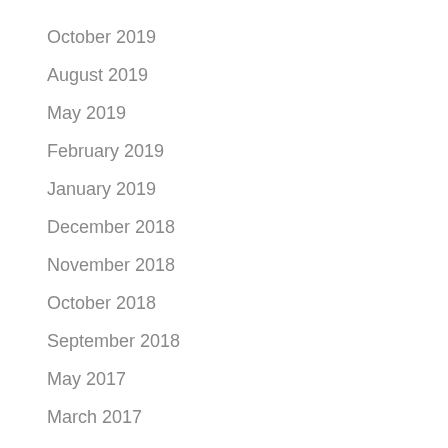October 2019
August 2019
May 2019
February 2019
January 2019
December 2018
November 2018
October 2018
September 2018
May 2017
March 2017
January 2017
December 2016
October 2016
September 2016